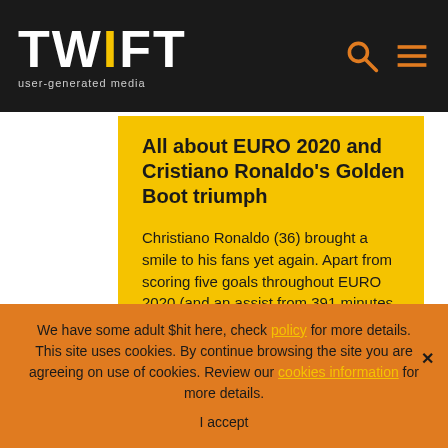TWIFT user-generated media
All about EURO 2020 and Cristiano Ronaldo's Golden Boot triumph
Christiano Ronaldo (36) brought a smile to his fans yet again. Apart from scoring five goals throughout EURO 2020 (and an assist from 391 minutes of action),...
We have some adult $hit here, check policy for more details. This site uses cookies. By continue browsing the site you are agreeing on use of cookies. Review our cookies information for more details.
I accept